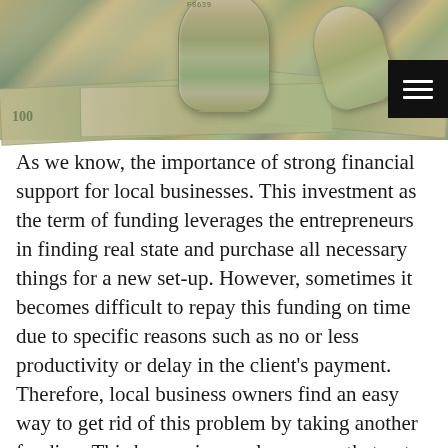[Figure (photo): Close-up photograph of rolled and flat US $100 dollar bills, with a black hamburger menu button overlay in the top-right corner of the image.]
As we know, the importance of strong financial support for local businesses. This investment as the term of funding leverages the entrepreneurs in finding real state and purchase all necessary things for a new set-up. However, sometimes it becomes difficult to repay this funding on time due to specific reasons such as no or less productivity or delay in the client's payment. Therefore, local business owners find an easy way to get rid of this problem by taking another funding. This borrowing cycle goes on that not only reduces business deposit but increases the budget as well. So, there should be an all-purpose funding that can fulfill all